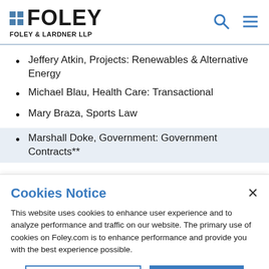FOLEY FOLEY & LARDNER LLP
Jeffery Atkin, Projects: Renewables & Alternative Energy
Michael Blau, Health Care: Transactional
Mary Braza, Sports Law
Marshall Doke, Government: Government Contracts**
Cookies Notice
This website uses cookies to enhance user experience and to analyze performance and traffic on our website. The primary use of cookies on Foley.com is to enhance performance and provide you with the best experience possible.
Manage Preferences | Accept Cookies